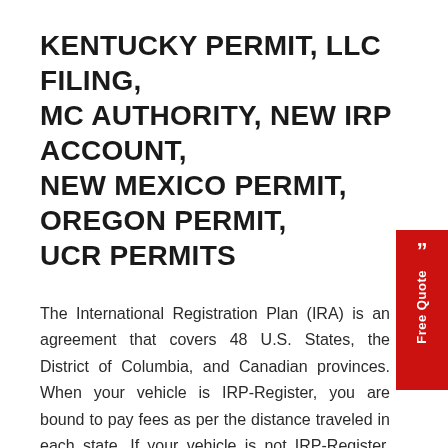KENTUCKY PERMIT, LLC FILING, MC AUTHORITY, NEW IRP ACCOUNT, NEW MEXICO PERMIT, OREGON PERMIT, UCR PERMITS
The International Registration Plan (IRA) is an agreement that covers 48 U.S. States, the District of Columbia, and Canadian provinces. When your vehicle is IRP-Register, you are bound to pay fees as per the distance traveled in each state. If your vehicle is not IRP-Register, you will have to obtain a temporary trip permit for travel in every state outside of your state where the vehicle is registered.
WHO ALL NEED A TEMPORARY TRIP PERMIT?